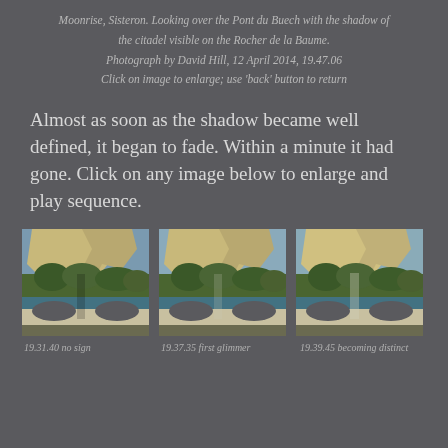Moonrise, Sisteron. Looking over the Pont du Buech with the shadow of the citadel visible on the Rocher de la Baume. Photograph by David Hill, 12 April 2014, 19.47.06 Click on image to enlarge; use 'back' button to return
Almost as soon as the shadow became well defined, it began to fade. Within a minute it had gone. Click on any image below to enlarge and play sequence.
[Figure (photo): Photograph looking over the Pont du Buech with rocky cliffs, vegetation, and a stone arch bridge. Time 19.31.40, showing no shadow sign.]
19.31.40 no sign
[Figure (photo): Photograph looking over the Pont du Buech with rocky cliffs, vegetation, and a stone arch bridge. Time 19.37.35, showing first glimmer of shadow.]
19.37.35 first glimmer
[Figure (photo): Photograph looking over the Pont du Buech with rocky cliffs, vegetation, and a stone arch bridge. Time 19.39.45, shadow becoming distinct.]
19.39.45 becoming distinct